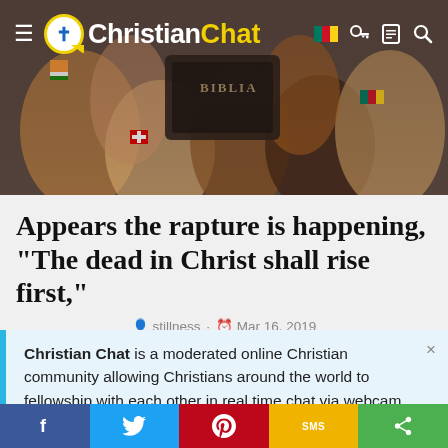[Figure (screenshot): Header photo of multiple hands from diverse backgrounds placed together on a Bible, with various country flags visible on wrists/arms. Christian Chat navigation bar overlaid on top.]
Christian Chat
Appears the rapture is happening, "The dead in Christ shall rise first,"
stillness · Mar 16, 2019
Christian Chat is a moderated online Christian community allowing Christians around the world to fellowship with each other in real time chat via webcam, voice, and text, with the Christian Chat app. You can also start or participate in a Bible-based discussion here in the Christian Chat
f  [Twitter]  [Pinterest]  SMS  [Share]